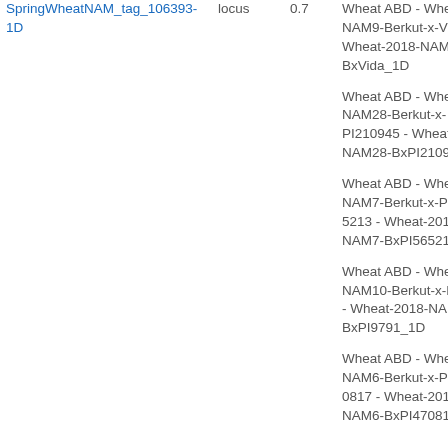| Tag | Type | Score | Name |
| --- | --- | --- | --- |
| SpringWheatNAM_tag_106393-1D | locus | 0.7 | Wheat ABD - Wheat NAM9-Berkut-x-Vida - Wheat-2018-NAM9-BxVida_1D |
|  |  |  | Wheat ABD - Wheat NAM28-Berkut-x-PI210945 - Wheat-2018-NAM28-BxPI210945 |
|  |  |  | Wheat ABD - Wheat NAM7-Berkut-x-PI565213 - Wheat-2018-NAM7-BxPI565213_1D |
|  |  |  | Wheat ABD - Wheat NAM10-Berkut-x-PI9791 - Wheat-2018-NAM10-BxPI9791_1D |
|  |  |  | Wheat ABD - Wheat NAM6-Berkut-x-PI470817 - Wheat-2018-NAM6-BxPI470817_1D |
| SpringWheatNAM_tag_8649-1D | locus | 0.7 | Wheat ABD - Wheat NAM2-Berkut-x-PI572692 - Wheat-2018-NAM2-BxPI572692_1D |
|  |  |  | Wheat ABD - Wheat NAM9-Berkut-x-Vida - Wheat-2018-NAM9- |